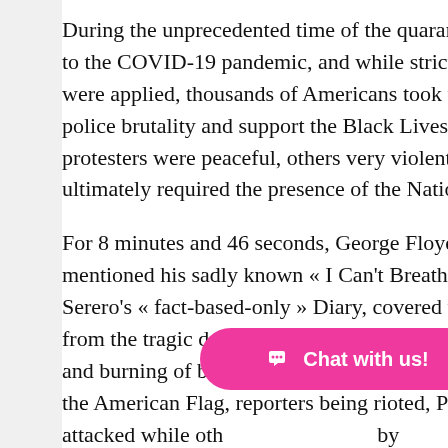During the unprecedented time of the quarant to the COVID-19 pandemic, and while strict ru were applied, thousands of Americans took to police brutality and support the Black Lives M protesters were peaceful, others very violent, ultimately required the presence of the Nation
For 8 minutes and 46 seconds, George Floyd mentioned his sadly known « I Can't Breathe.. Serero's « fact-based-only » Diary, covered th from the tragic death of George Floyd to the p and burning of businesses, the curfews, demo the American Flag, reporters being rioted, Pol attacked while oth by George Floyd, and mo protesters showed their support for the police
[Figure (other): Pink chat widget button with chat bubble icon and text 'Chat with us!']